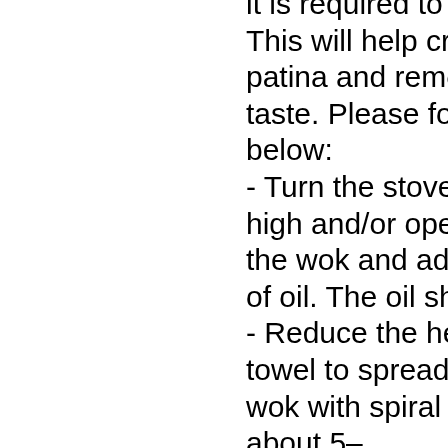it is required to season the wok. This will help create a non-stick patina and remove any metallic taste. Please follow the steps below: - Turn the stove's exhaust fan on high and/or open the window. Heat the wok and add 1–2 tablespoons of oil. The oil should start smoking. - Reduce the heat and use a paper towel to spread the oil around the wok with spiral movements for about 5–